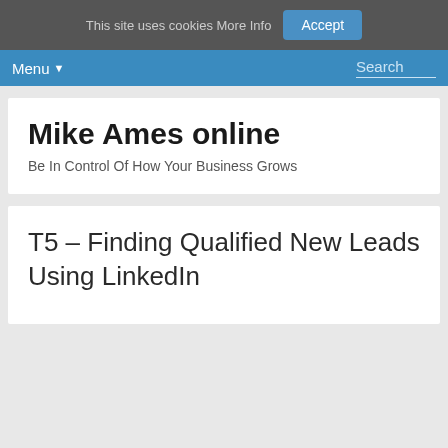This site uses cookies More Info  Accept
Menu  Search
Mike Ames online
Be In Control Of How Your Business Grows
T5 – Finding Qualified New Leads Using LinkedIn